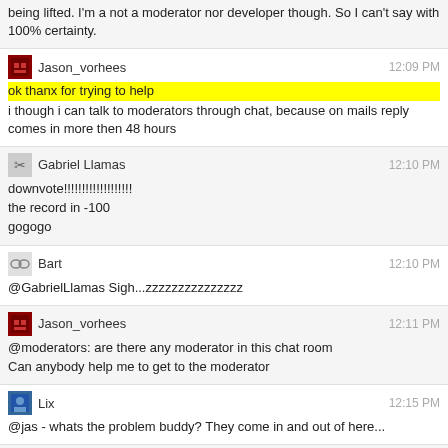being lifted. I'm a not a moderator nor developer though. So I can't say with 100% certainty.
Jason_vorhees 12:09 PM
ok thanx for trying to help
i though i can talk to moderators through chat, because on mails reply comes in more then 48 hours
Gabriel Llamas 12:10 PM
downvote!!!!!!!!!!!!!!!!!!!
the record in -100
gogogo
Bart 12:10 PM
@GabrielLlamas Sigh...zzzzzzzzzzzzzzz
Jason_vorhees 12:11 PM
@moderators: are there any moderator in this chat room
Can anybody help me to get to the moderator
Lix 12:15 PM
@jas - whats the problem buddy? They come in and out of here...
Jason_vorhees 12:15 PM
my answering are stop by moderators and i want them to say to undo it
Lix 12:16 PM